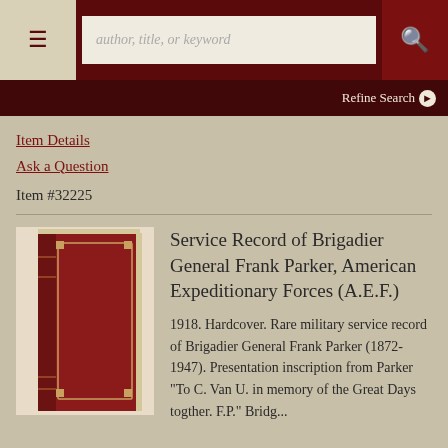author, title, or keyword | Refine Search
Item Details
Ask a Question
Item #32225
[Figure (photo): Photo of a red leather-bound hardcover book standing upright, spine facing left, with gold decorative details on the cover boards.]
Service Record of Brigadier General Frank Parker, American Expeditionary Forces (A.E.F.)
1918. Hardcover. Rare military service record of Brigadier General Frank Parker (1872-1947). Presentation inscription from Parker "To C. Van U. in memory of the Great Days togther. F.P." Bridg...